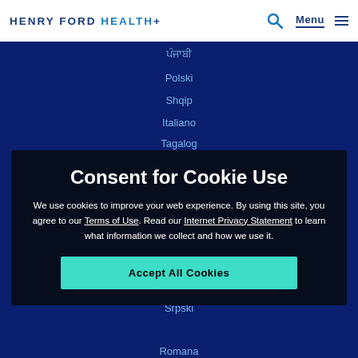HENRY FORD HEALTH
ਪੰਜਾਬੀ
Polski
Shqip
Italiano
Tagalog
日日
Ελληνικά
Consent for Cookie Use
We use cookies to improve your web experience. By using this site, you agree to our Terms of Use. Read our Internet Privacy Statement to learn what information we collect and how we use it.
Русский язык
Srpski
Romana